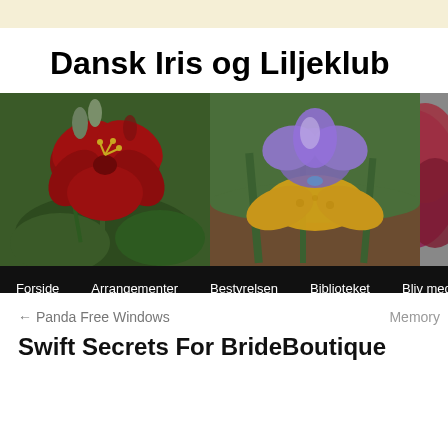Dansk Iris og Liljeklub
[Figure (photo): Banner image showing three flowers side by side: a dark red lily on the left, a purple and yellow iris in the center, and a partial view of a dark red/maroon flower on the right. A black navigation bar overlays the bottom with menu items: Forside, Arrangementer, Bestyrelsen, Biblioteket, Bliv medle...]
← Panda Free Windows
Memory
Swift Secrets For BrideBoutique